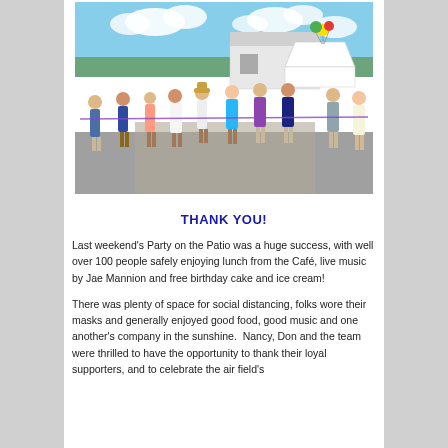[Figure (photo): Outdoor photo of a group of people participating in a ribbon-cutting ceremony at an airfield. They are lined up along a purple/blue ribbon, with a white event tent, balloons (yellow, green, red), a white building, and blue sky with clouds in the background.]
THANK YOU!
Last weekend's Party on the Patio was a huge success, with well over 100 people safely enjoying lunch from the Café, live music by Jae Mannion and free birthday cake and ice cream!
There was plenty of space for social distancing, folks wore their masks and generally enjoyed good food, good music and one another's company in the sunshine.  Nancy, Don and the team were thrilled to have the opportunity to thank their loyal supporters, and to celebrate the air field's